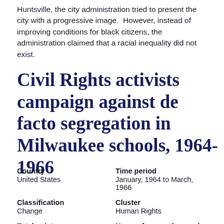Huntsville, the city administration tried to present the city with a progressive image.  However, instead of improving conditions for black citizens, the administration claimed that a racial inequality did not exist.
Civil Rights activists campaign against de facto segregation in Milwaukee schools, 1964-1966
Country
United States
Time period
January, 1964 to March, 1966
Classification
Change
Cluster
Human Rights
Total points
5 out of 10 points
Name of researcher, and date dd/mm/yyyy
Jonathan White, 17/04/2013